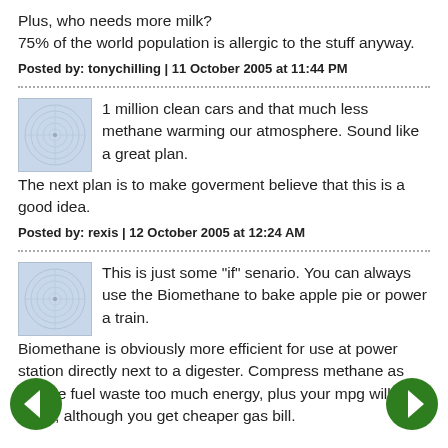Plus, who needs more milk?
75% of the world population is allergic to the stuff anyway.
Posted by: tonychilling | 11 October 2005 at 11:44 PM
1 million clean cars and that much less methane warming our atmosphere. Sound like a great plan. The next plan is to make goverment believe that this is a good idea.
Posted by: rexis | 12 October 2005 at 12:24 AM
This is just some "if" senario. You can always use the Biomethane to bake apple pie or power a train. Biomethane is obviously more efficient for use at power station directly next to a digester. Compress methane as vehicle fuel waste too much energy, plus your mpg will go down, although you get cheaper gas bill.